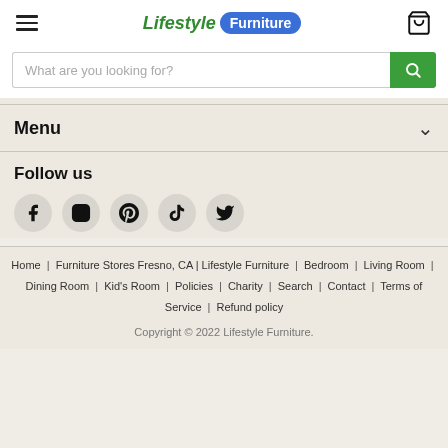[Figure (logo): Lifestyle Furniture logo with green italic text and blue oval badge]
What are you looking for?
Menu
Follow us
[Figure (infographic): Social media icons: Facebook, Instagram, Pinterest, TikTok, Twitter]
Home | Furniture Stores Fresno, CA | Lifestyle Furniture | Bedroom | Living Room | Dining Room | Kid's Room | Policies | Charity | Search | Contact | Terms of Service | Refund policy
Copyright © 2022 Lifestyle Furniture.